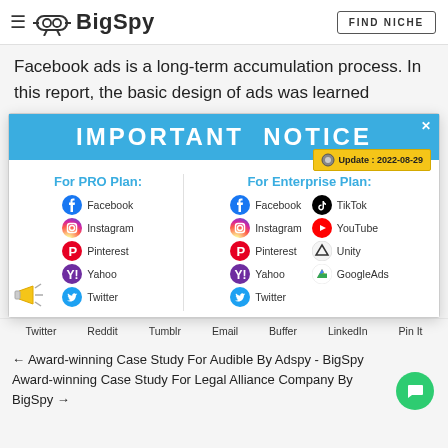BigSpy — FIND NICHE
Facebook ads is a long-term accumulation process. In this report, the basic design of ads was learned
[Figure (screenshot): IMPORTANT NOTICE modal popup showing platform availability for PRO Plan (Facebook, Instagram, Pinterest, Yahoo, Twitter) and Enterprise Plan (Facebook, Instagram, Pinterest, Yahoo, Twitter, TikTok, YouTube, Unity, GoogleAds). Update date: 2022-08-29.]
Twitter  Reddit  Tumblr  Email  Buffer  LinkedIn  Pin It
← Award-winning Case Study For Audible By Adspy - BigSpy  Award-winning Case Study For Legal Alliance Company By BigSpy →